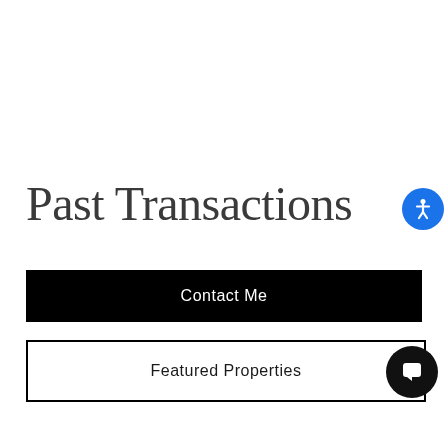Past Transactions
Contact Me
Featured Properties